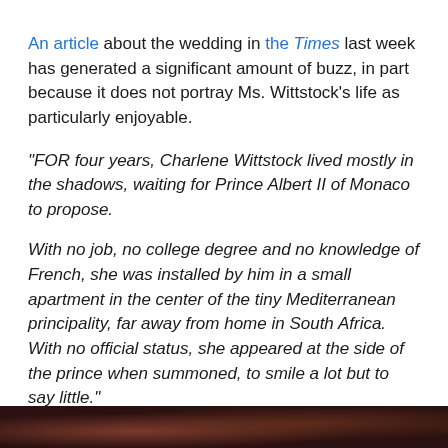An article about the wedding in the Times last week has generated a significant amount of buzz, in part because it does not portray Ms. Wittstock's life as particularly enjoyable.
“FOR four years, Charlene Wittstock lived mostly in the shadows, waiting for Prince Albert II of Monaco to propose.
With no job, no college degree and no knowledge of French, she was installed by him in a small apartment in the center of the tiny Mediterranean principality, far away from home in South Africa. With no official status, she appeared at the side of the prince when summoned, to smile a lot but to say little.”
[Figure (photo): Partial view of a photo at the bottom of the page, showing what appears to be people at a formal event, mostly cut off]